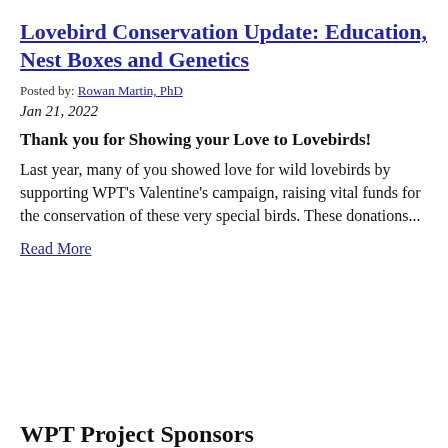Lovebird Conservation Update: Education, Nest Boxes and Genetics
Posted by: Rowan Martin, PhD
Jan 21, 2022
Thank you for Showing your Love to Lovebirds!
Last year, many of you showed love for wild lovebirds by supporting WPT’s Valentine’s campaign, raising vital funds for the conservation of these very special birds. These donations...
Read More
WPT Project Sponsors